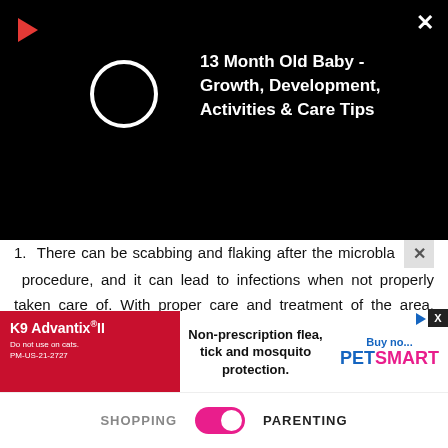[Figure (screenshot): Video overlay with black background, play button (red triangle), loading spinner circle, close X button, and video title text '13 Month Old Baby - Growth, Development, Activities & Care Tips']
There can be scabbing and flaking after the microbla procedure, and it can lead to infections when not properly taken care of. With proper care and treatment of the area, chances of infection can be minimized. Use medicated moistures to avoid scabbing, and not wetting the area for a few days will also help.
Do a small patch test beforehand to ascertain no negative reaction or response to microblading or the topical anesthetic cream.
Cor... rehand
[Figure (screenshot): Advertisement banner for K9 Advantix II: Non-prescription flea, tick and mosquito protection. Buy now at PetSmart.]
SHOPPING  [toggle]  PARENTING